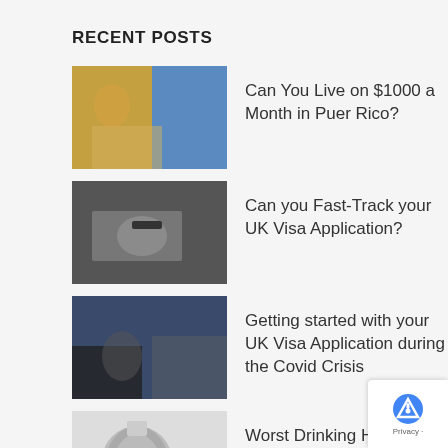RECENT POSTS
Can You Live on $1000 a Month in Puerto Rico?
Can you Fast-Track your UK Visa Application?
Getting started with your UK Visa Application during the Covid Crisis
Worst Drinking Habits That Hinder Weight Lose
How to stay motivated as a content writer?